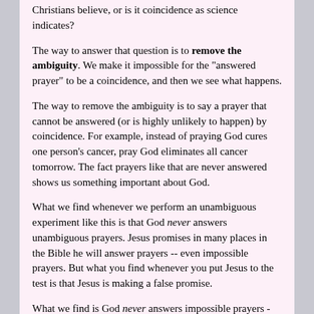Christians believe, or is it coincidence as science indicates?
The way to answer that question is to remove the ambiguity. We make it impossible for the "answered prayer" to be a coincidence, and then we see what happens.
The way to remove the ambiguity is to say a prayer that cannot be answered (or is highly unlikely to happen) by coincidence. For example, instead of praying God cures one person's cancer, pray God eliminates all cancer tomorrow. The fact prayers like that are never answered shows us something important about God.
What we find whenever we perform an unambiguous experiment like this is that God never answers unambiguous prayers. Jesus promises in many places in the Bible he will answer prayers -- even impossible prayers. But what you find whenever you put Jesus to the test is that Jesus is making a false promise.
What we find is God never answers impossible prayers - even if the prayers are incredibly worthy. For example:
Pray to God to levitate a car and hold it floating in the air for ten minutes. It will not happen, even if you are praying to levitate the car because a drunk driver has run over a college freshman and she is currently pinned under one of the wheels. Too much? Pray to God to levitate the pen and pencil that are sitting on